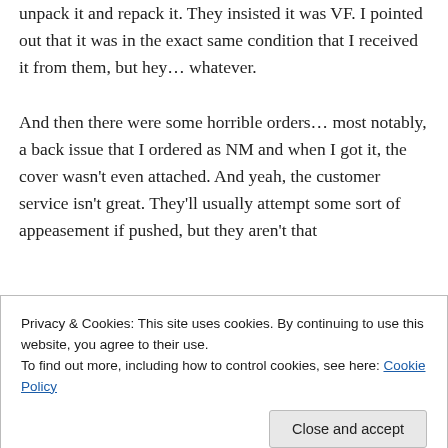unpack it and repack it. They insisted it was VF. I pointed out that it was in the exact same condition that I received it from them, but hey… whatever.
And then there were some horrible orders… most notably, a back issue that I ordered as NM and when I got it, the cover wasn't even attached. And yeah, the customer service isn't great. They'll usually attempt some sort of appeasement if pushed, but they aren't that
Privacy & Cookies: This site uses cookies. By continuing to use this website, you agree to their use.
To find out more, including how to control cookies, see here: Cookie Policy
learn my name (something the Lone Star